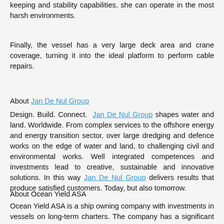keeping and stability capabilities, she can operate in the most harsh environments.
Finally, the vessel has a very large deck area and crane coverage, turning it into the ideal platform to perform cable repairs.
About Jan De Nul Group
Design. Build. Connect. Jan De Nul Group shapes water and land. Worldwide. From complex services to the offshore energy and energy transition sector, over large dredging and defence works on the edge of water and land, to challenging civil and environmental works. Well integrated competences and investments lead to creative, sustainable and innovative solutions. In this way Jan De Nul Group delivers results that produce satisfied customers. Today, but also tomorrow.
About Ocean Yield ASA
Ocean Yield ASA is a ship owning company with investments in vessels on long-term charters. The company has a significant contract backlog that offers visibility with respect to future earnings and dividend capacity.